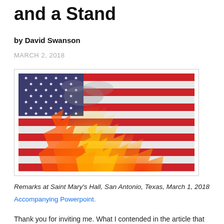and a Stand
by David Swanson
MARCH 2, 2018
[Figure (photo): An American flag engulfed in flames, with red, white, and blue stripes and stars visible through the fire and smoke.]
Remarks at Saint Mary's Hall, San Antonio, Texas, March 1, 2018
Accompanying Powerpoint.
Thank you for inviting me. What I contended in the article that got me invited here was that one of the big...